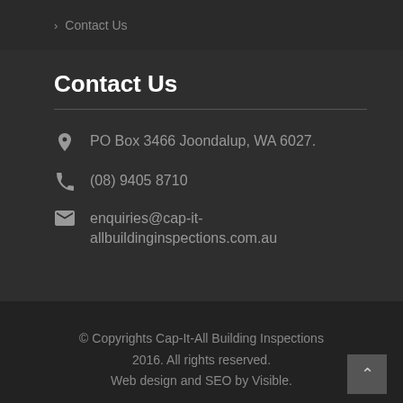> Contact Us
Contact Us
PO Box 3466 Joondalup, WA 6027.
(08) 9405 8710
enquiries@cap-it-allbuildinginspections.com.au
© Copyrights Cap-It-All Building Inspections 2016. All rights reserved. Web design and SEO by Visible.